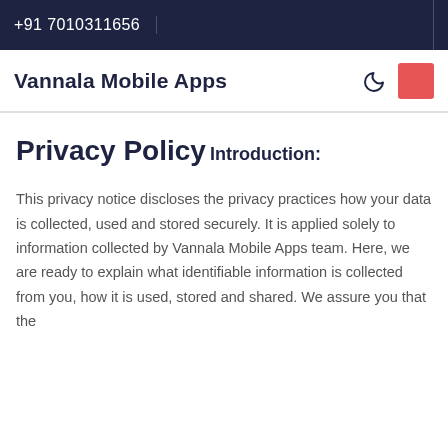+91 7010311656
Vannala Mobile Apps
Privacy Policy
Introduction:
This privacy notice discloses the privacy practices how your data is collected, used and stored securely. It is applied solely to information collected by Vannala Mobile Apps team. Here, we are ready to explain what identifiable information is collected from you, how it is used, stored and shared. We assure you that the